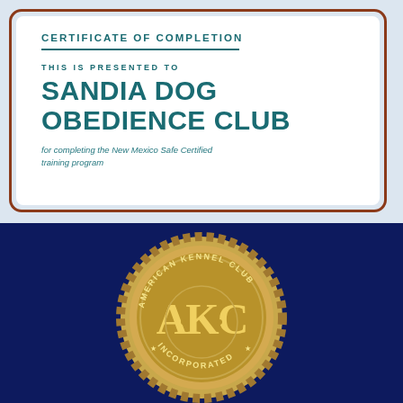CERTIFICATE OF COMPLETION
THIS IS PRESENTED TO
SANDIA DOG OBEDIENCE CLUB
for completing the New Mexico Safe Certified training program
[Figure (logo): American Kennel Club gold medal/coin with AKC initials and text AMERICAN KENNEL CLUB INCORPORATED on a dark navy background]